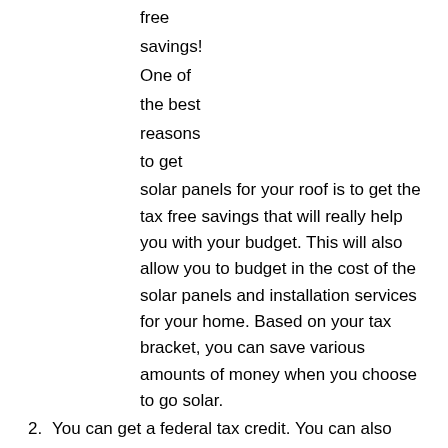free
savings!
One of
the best
reasons
to get
solar panels for your roof is to get the tax free savings that will really help you with your budget. This will also allow you to budget in the cost of the solar panels and installation services for your home. Based on your tax bracket, you can save various amounts of money when you choose to go solar.
2. You can get a federal tax credit. You can also participate in the federal tax credit program that will give you a large percentage back for the system that you have installed on your home. The rest of it will pay itself off over time.
3. You can increase the value of your home. You can also increase the value of your home as homes with solar